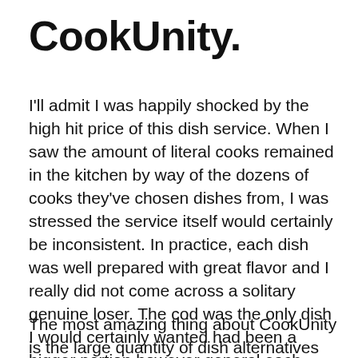CookUnity.
I'll admit I was happily shocked by the high hit price of this dish service. When I saw the amount of literal cooks remained in the kitchen by way of the dozens of cooks they've chosen dishes from, I was stressed the service itself would certainly be inconsistent. In practice, each dish was well prepared with great flavor and I really did not come across a solitary genuine loser. The cod was the only dish I would certainly wanted had been a bigger portion however general each lunch or dinner was satisfying.
The most amazing thing about CookUnity is the large quantity of dish alternatives you